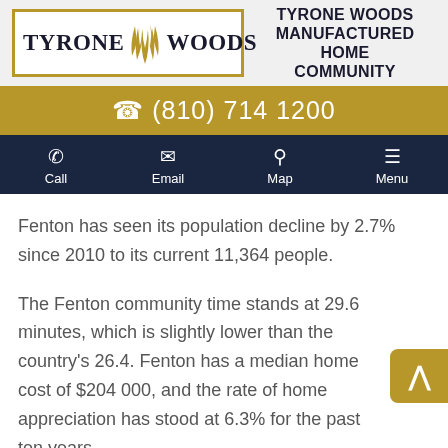[Figure (logo): Tyrone Woods logo with wheat graphic and gold border]
TYRONE WOODS MANUFACTURED HOME COMMUNITY
(810) 714 1200
Call | Email | Map | Menu
Fenton has seen its population decline by 2.7% since 2010 to its current 11,364 people.
The Fenton community time stands at 29.6 minutes, which is slightly lower than the country's 26.4. Fenton has a median home cost of $204 000, and the rate of home appreciation has stood at 6.3% for the past ten years.
Public schools in Fenton, Michigan spend at least $9,928